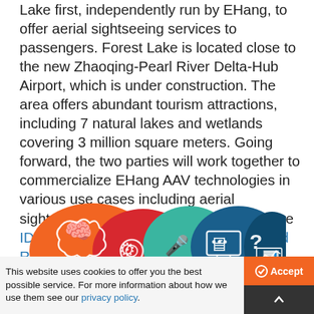Lake first, independently run by EHang, to offer aerial sightseeing services to passengers. Forest Lake is located close to the new Zhaoqing-Pearl River Delta-Hub Airport, which is under construction. The area offers abundant tourism attractions, including 7 natural lakes and wetlands covering 3 million square meters. Going forward, the two parties will work together to commercialize EHang AAV technologies in various use cases including aerial sightseeing. For further information see the IDTechEx report on Autonomous Cars and Robotaxis 2020-2040: Players, Technologies and Market Forecast.
[Figure (illustration): Colorful infographic illustration with speech bubbles containing icons: brain, gears, person at podium, computer monitor with chat bubbles, question mark, and a chart/graph. Colors include orange, red, teal, and blue.]
This website uses cookies to offer you the best possible service. For more information about how we use them see our privacy policy.